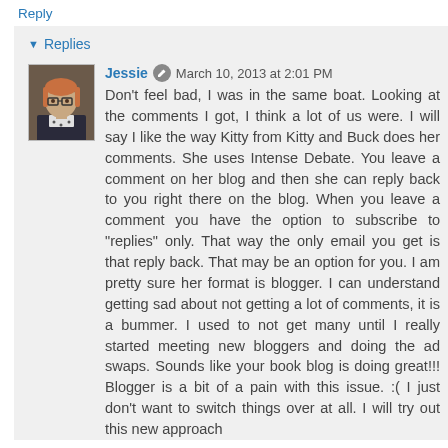Reply
Replies
Jessie  March 10, 2013 at 2:01 PM
Don't feel bad, I was in the same boat. Looking at the comments I got, I think a lot of us were. I will say I like the way Kitty from Kitty and Buck does her comments. She uses Intense Debate. You leave a comment on her blog and then she can reply back to you right there on the blog. When you leave a comment you have the option to subscribe to "replies" only. That way the only email you get is that reply back. That may be an option for you. I am pretty sure her format is blogger. I can understand getting sad about not getting a lot of comments, it is a bummer. I used to not get many until I really started meeting new bloggers and doing the ad swaps. Sounds like your book blog is doing great!!! Blogger is a bit of a pain with this issue. :( I just don't want to switch things over at all. I will try out this new approach